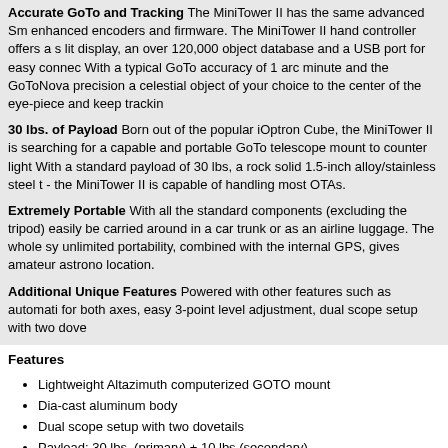Accurate GoTo and Tracking The MiniTower II has the same advanced SmartStar enhanced encoders and firmware. The MiniTower II hand controller offers a starlit display, an over 120,000 object database and a USB port for easy connectivity. With a typical GoTo accuracy of 1 arc minute and the GoToNova precision algorithm, celestial object of your choice to the center of the eye-piece and keep tracking.
30 lbs. of Payload Born out of the popular iOptron Cube, the MiniTower II is designed for searching for a capable and portable GoTo telescope mount to counter light pollution. With a standard payload of 30 lbs, a rock solid 1.5-inch alloy/stainless steel tripod - the MiniTower II is capable of handling most OTAs.
Extremely Portable With all the standard components (excluding the tripod) can easily be carried around in a car trunk or as an airline luggage. The whole system's unlimited portability, combined with the internal GPS, gives amateur astronomers any location.
Additional Unique Features Powered with other features such as automatic tracking for both axes, easy 3-point level adjustment, dual scope setup with two dovetails.
Features
Lightweight Altazimuth computerized GOTO mount
Dia-cast aluminum body
Dual scope setup with two dovetails
Payload: 30 lbs. (primary) + 10 lbs (secondary)
Metal gear and worm
DC servomotor with high precision optical encoder on both axes
Resolution: 0.1 Arc Second
GOTONOVA® accurate GOTO and auto-tracking